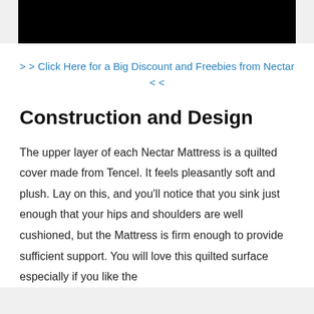[Figure (photo): Black rectangular banner/header image at the top of the page]
> > Click Here for a Big Discount and Freebies from Nectar < <
Construction and Design
The upper layer of each Nectar Mattress is a quilted cover made from Tencel. It feels pleasantly soft and plush. Lay on this, and you'll notice that you sink just enough that your hips and shoulders are well cushioned, but the Mattress is firm enough to provide sufficient support. You will love this quilted surface especially if you like the